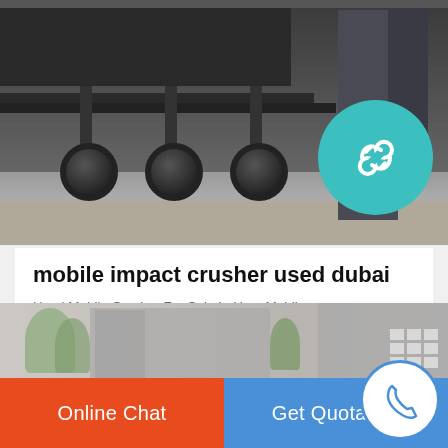[Figure (photo): Photo of the underside and wheels of a heavy industrial vehicle (truck/trailer) with large black tires and a grey structural pillar on the right side, viewed from below at ground level in an industrial yard.]
mobile impact crusher used dubai
Used Mobile Crusher For Sale In Uae. Mobile used crusher plant on sale price at uae. used crusher mobile for sale in dubai used crusher mobile for sale in dubai our purpose and belief lm heavy industry is committed to provide the global customers with the firstclass products and superior service striving to maximize and optimize the interests and values of the customers and build bright future ...
[Figure (photo): Partial view of industrial buildings or factory structures in a grey/beige exterior setting with trees visible.]
Online Chat
Get Quotation